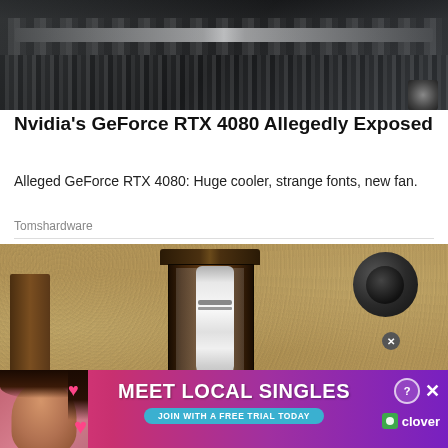[Figure (photo): Close-up photo of what appears to be a GPU graphics card wrapped in plastic packaging, showing dark metallic components and fins]
Nvidia's GeForce RTX 4080 Allegedly Exposed
Alleged GeForce RTX 4080: Huge cooler, strange fonts, new fan.
Tomshardware
[Figure (photo): Outdoor wall-mounted lantern light fixture with a white bottle/bulb inside, attached to a textured stucco wall with a dark circular camera or motion sensor nearby]
[Figure (photo): Advertisement banner: Meet Local Singles - Join with a free trial today - Clover dating app ad with woman and pink hearts]